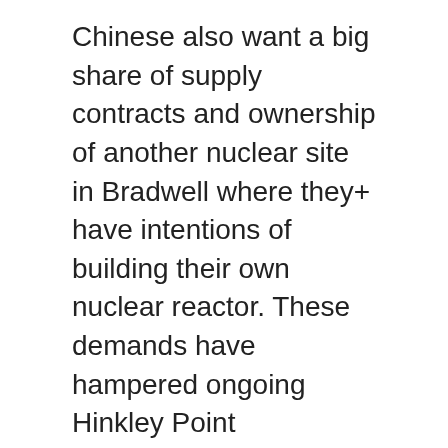Chinese also want a big share of supply contracts and ownership of another nuclear site in Bradwell where they+ have intentions of building their own nuclear reactor. These demands have hampered ongoing Hinkley Point negotiations.
Cost savings are certainly a huge factor for the UK as they negotiate with China. Some feel financial considerations often play a larger role than they should when it comes to these types of decisions and that politicians might buy in on Chinese technology earlier than they should for the sake of political expediency. It is not believed that China will immediately pursue deeper involvement with projects in developed nations. Rather, they